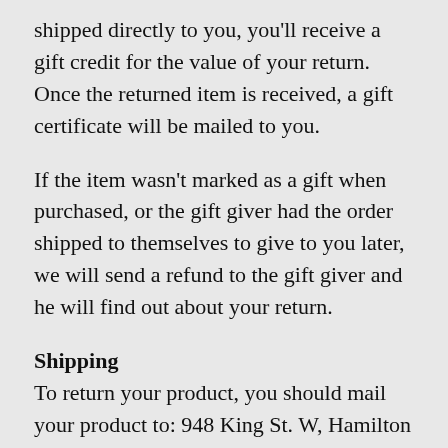shipped directly to you, you'll receive a gift credit for the value of your return. Once the returned item is received, a gift certificate will be mailed to you.
If the item wasn't marked as a gift when purchased, or the gift giver had the order shipped to themselves to give to you later, we will send a refund to the gift giver and he will find out about your return.
Shipping
To return your product, you should mail your product to: 948 King St. W, Hamilton ON L8S 1K8, Canada
You will be responsible for paying for your own shipping costs for returning your item. Shipping costs